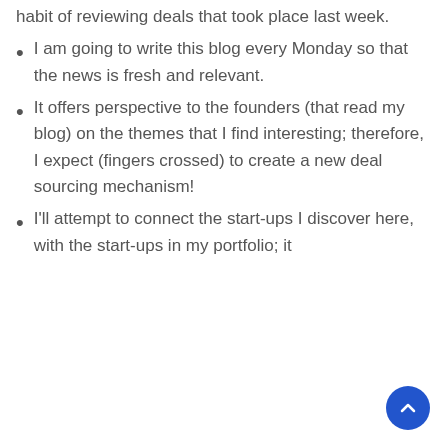habit of reviewing deals that took place last week.
I am going to write this blog every Monday so that the news is fresh and relevant.
It offers perspective to the founders (that read my blog) on the themes that I find interesting; therefore, I expect (fingers crossed) to create a new deal sourcing mechanism!
I'll attempt to connect the start-ups I discover here, with the start-ups in my portfolio; it